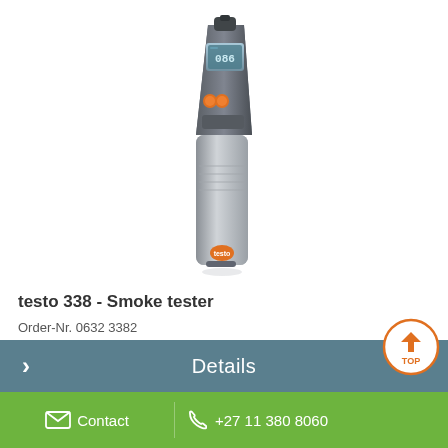[Figure (photo): Photo of testo 338 smoke tester device — a gray and black handheld measuring instrument with an orange button, digital display showing '086', angled top nozzle, and testo branding logo at the base.]
testo 338 - Smoke tester
Order-Nr. 0632 3382
ZAR 91 775.78
excl. VAT
Details
Contact  +27 11 380 8060